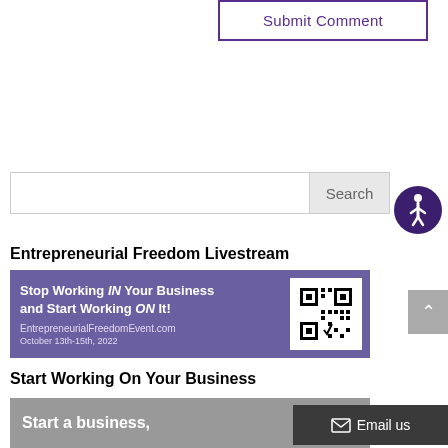Submit Comment
Search
[Figure (illustration): Accessibility icon — circular dark purple button with white wheelchair user symbol]
Entrepreneurial Freedom Livestream
[Figure (infographic): Banner image for Entrepreneurial Freedom Livestream event. Text: Stop Working IN Your Business and Start Working ON It! EntrepreneurialFreedomEvent.com October 13th-15th, 2022. Includes a QR code on the right side. Background shows people working together with a purple overlay.]
Start Working On Your Business
[Figure (infographic): Dark grey banner partially visible at bottom with text 'Start a business,' in white bold text]
Email us